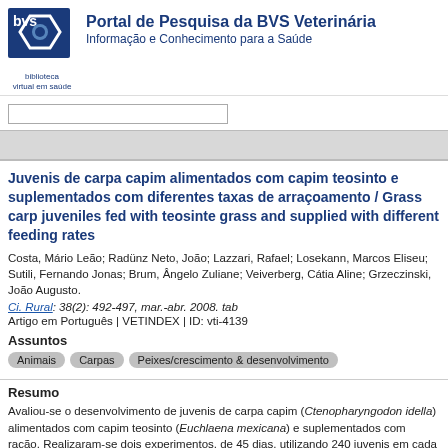Portal de Pesquisa da BVS Veterinária
Informação e Conhecimento para a Saúde
Juvenis de carpa capim alimentados com capim teosinto e suplementados com diferentes taxas de arraçoamento / Grass carp juveniles fed with teosinte grass and supplied with different feeding rates
Costa, Mário Leão; Radünz Neto, João; Lazzari, Rafael; Losekann, Marcos Eliseu; Sutili, Fernando Jonas; Brum, Ângelo Zuliane; Veiverberg, Cátia Aline; Grzeczinski, João Augusto.
Ci. Rural: 38(2): 492-497, mar.-abr. 2008. tab
Artigo em Português | VETINDEX | ID: vti-4139
Assuntos
Animais
Carpas
Peixes/crescimento & desenvolvimento
Resumo
Avaliou-se o desenvolvimento de juvenis de carpa capim (Ctenopharyngodon idella) alimentados com capim teosinto (Euchlaena mexicana) e suplementados com ração. Realizaram-se dois experimentos, de 45 dias, utilizando 240 juvenis em cada um (peso médio: 10,9±0,3g e 20,2±0,2g). No experimento 1, os peixes foram alimentados com